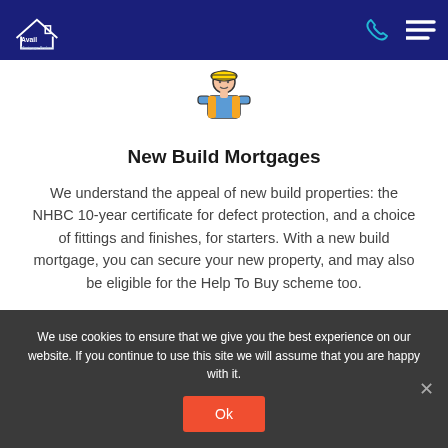Avail Mortgage Brokers
[Figure (illustration): Construction worker / builder icon wearing orange vest and hard hat]
New Build Mortgages
We understand the appeal of new build properties: the NHBC 10-year certificate for defect protection, and a choice of fittings and finishes, for starters. With a new build mortgage, you can secure your new property, and may also be eligible for the Help To Buy scheme too.
We use cookies to ensure that we give you the best experience on our website. If you continue to use this site we will assume that you are happy with it.